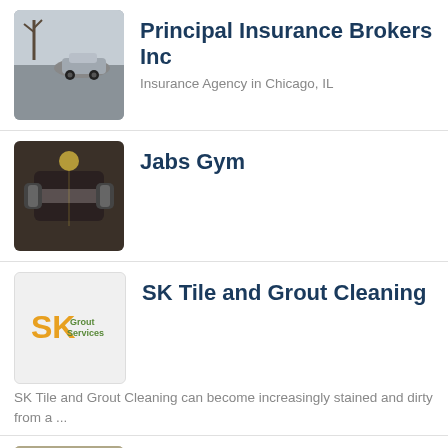Principal Insurance Brokers Inc
Insurance Agency in Chicago, IL
Jabs Gym
SK Tile and Grout Cleaning
SK Tile and Grout Cleaning can become increasingly stained and dirty from a ...
Fenton Hotel Tavern & Grille
Seafood Restaurant in Fenton, MI
Creative Children's Center
Child Care in Myersville, MD